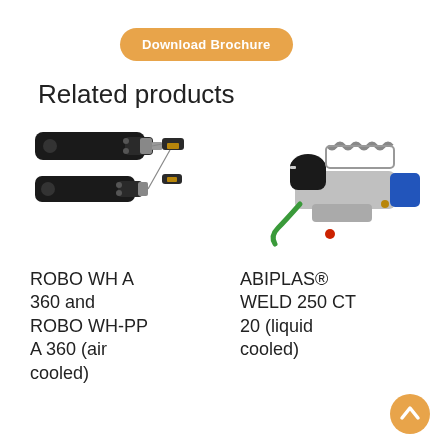[Figure (other): Orange rounded rectangle button labeled 'Download Brochure']
Related products
[Figure (photo): ROBO WH A 360 and ROBO WH-PP A 360 air cooled welding torch connectors — two black welding torch connectors shown with a small adapter piece]
ROBO WH A 360 and ROBO WH-PP A 360 (air cooled)
[Figure (photo): ABIPLAS WELD 250 CT 20 liquid cooled welding torch — industrial welding torch with green hose, coiled spring, and blue/black housing]
ABIPLAS® WELD 250 CT 20 (liquid cooled)